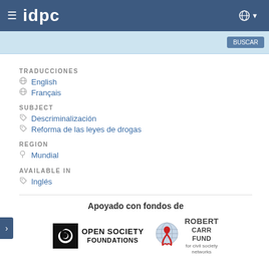IDPC
TRADUCCIONES
English
Français
SUBJECT
Descriminalización
Reforma de las leyes de drogas
REGION
Mundial
AVAILABLE IN
Inglés
Apoyado con fondos de
[Figure (logo): Open Society Foundations logo with spiral icon]
[Figure (logo): Robert Carr Fund for civil society networks logo with globe and ribbon icon]